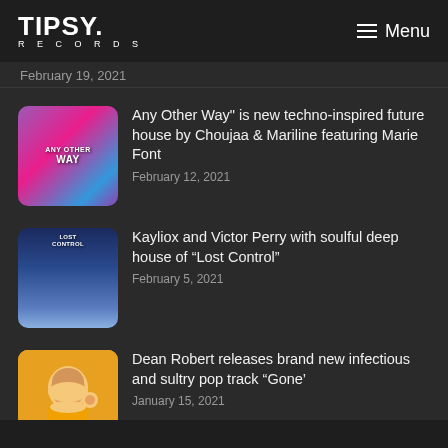TIPSY RECORDS | Menu
February 19, 2021
Any Other Way" is new techno-inspired future house by Choujaa & Mariline featuring Marie Font
February 12, 2021
Kayliox and Victor Perry with soulful deep house of “Lost Control”
February 5, 2021
Dean Robert releases brand new infectious and sultry pop track “Gone’
January 15, 2021